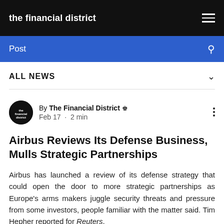the financial district
Post
ALL NEWS
By The Financial District · Feb 17 · 2 min
Airbus Reviews Its Defense Business, Mulls Strategic Partnerships
Airbus has launched a review of its defense strategy that could open the door to more strategic partnerships as Europe's arms makers juggle security threats and pressure from some investors, people familiar with the matter said. Tim Hepher reported for Reuters.